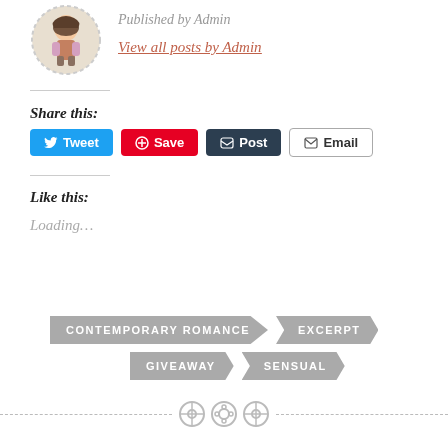[Figure (illustration): Cartoon avatar of a woman in a circular dashed border]
Published by Admin
View all posts by Admin
Share this:
[Figure (infographic): Social share buttons: Tweet, Save, Post, Email]
Like this:
Loading...
[Figure (infographic): Tag arrow buttons: CONTEMPORARY ROMANCE, EXCERPT, GIVEAWAY, SENSUAL]
[Figure (infographic): Three circular button decorations at the bottom center]